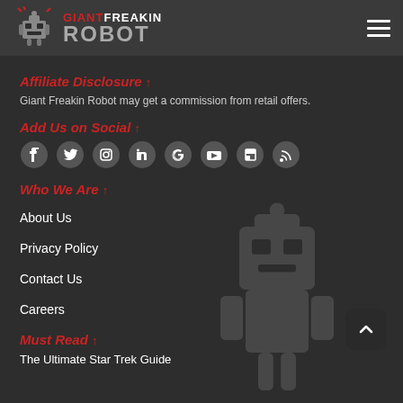Giant Freakin Robot
Affiliate Disclosure ↑
Giant Freakin Robot may get a commission from retail offers.
Add Us on Social ↑
[Figure (other): Row of social media icons: Facebook, Twitter, Instagram, LinkedIn, Google, YouTube, Flipboard, RSS]
Who We Are ↑
About Us
Privacy Policy
Contact Us
Careers
Must Read ↑
The Ultimate Star Trek Guide